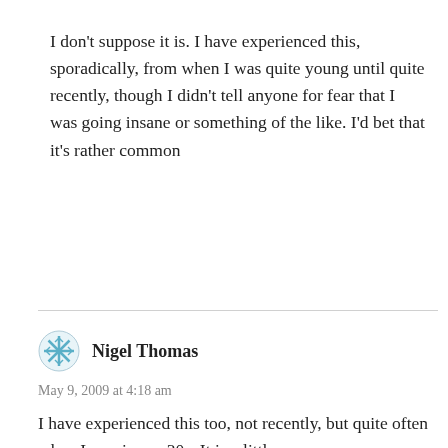I don't suppose it is. I have experienced this, sporadically, from when I was quite young until quite recently, though I didn't tell anyone for fear that I was going insane or something of the like. I'd bet that it's rather common
Reply
Nigel Thomas
May 9, 2009 at 4:18 am
I have experienced this too, not recently, but quite often when I was in my 30s. It is a little